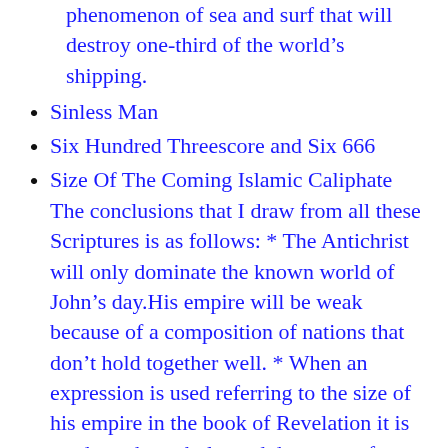phenomenon of sea and surf that will destroy one-third of the world's shipping.
Sinless Man
Six Hundred Threescore and Six 666
Size Of The Coming Islamic Caliphate The conclusions that I draw from all these Scriptures is as follows: * The Antichrist will only dominate the known world of John's day.His empire will be weak because of a composition of nations that don't hold together well. * When an expression is used referring to the size of his empire in the book of Revelation it is used as a hyperbole, and does not refer to all the world as we know it today. * I do not believe the mark of the beast will be put on residents of the